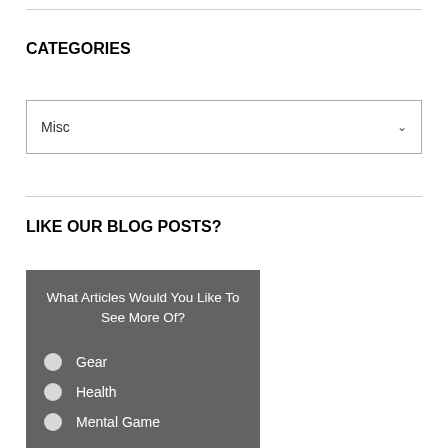CATEGORIES
Misc
LIKE OUR BLOG POSTS?
What Articles Would You Like To See More Of?
Gear
Health
Mental Game